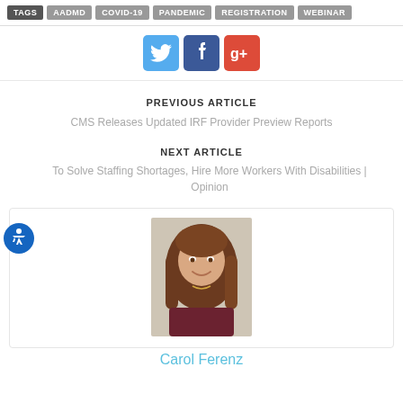TAGS  AADMD  COVID-19  PANDEMIC  REGISTRATION  WEBINAR
[Figure (infographic): Social media share icons: Twitter (blue bird), Facebook (blue f), Google+ (red g+)]
PREVIOUS ARTICLE
CMS Releases Updated IRF Provider Preview Reports
NEXT ARTICLE
To Solve Staffing Shortages, Hire More Workers With Disabilities | Opinion
[Figure (photo): Headshot photo of Carol Ferenz, a woman with long brown hair, smiling, wearing dark clothing]
Carol Ferenz